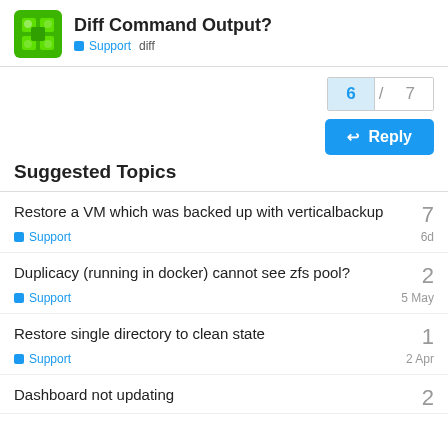Diff Command Output?
Support   diff
6 / 7
Reply
Suggested Topics
Restore a VM which was backed up with verticalbackup
Support   6d   7
Duplicacy (running in docker) cannot see zfs pool?
Support   5 May   2
Restore single directory to clean state
Support   2 Apr   1
Dashboard not updating
2